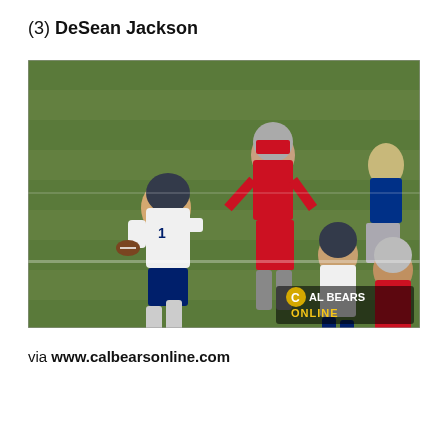(3) DeSean Jackson
[Figure (photo): Action photo of DeSean Jackson (#1) in a Cal Bears white uniform running with the football, pursued by players in red uniforms (Washington State Cougars) on a green football field. The Cal Bears Online watermark/logo appears in the bottom right corner of the image.]
via www.calbearsonline.com